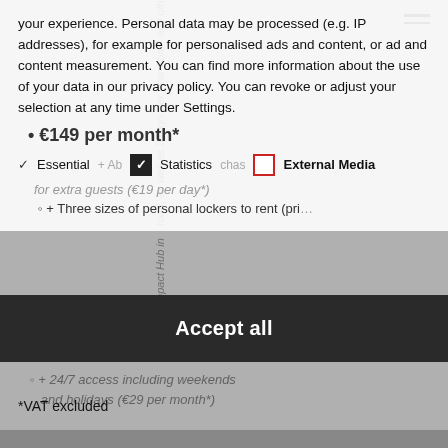your experience. Personal data may be processed (e.g. IP addresses), for example for personalised ads and content, or ad and content measurement. You can find more information about the use of your data in our privacy policy. You can revoke or adjust your selection at any time under Settings.
€149 per month*
Essential  Statistics  External Media
+ Three sizes of personal lockers to rent (pri...
+ 24/7 access including weekends and holidays (€29 per month*)
Accept all
*VAT excluded